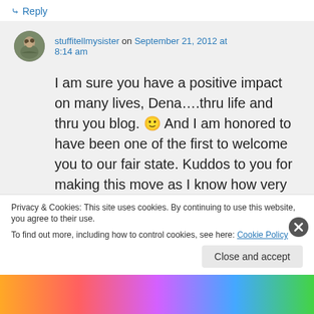↳ Reply
[Figure (photo): User avatar photo of stuffitellmysister - circular portrait thumbnail]
stuffitellmysister on September 21, 2012 at 8:14 am
I am sure you have a positive impact on many lives, Dena….thru life and thru you blog. 🙂 And I am honored to have been one of the first to welcome you to our fair state. Kuddos to you for making this move as I know how very tough it can be. ♥
Privacy & Cookies: This site uses cookies. By continuing to use this website, you agree to their use.
To find out more, including how to control cookies, see here: Cookie Policy
Close and accept